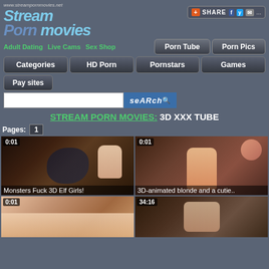[Figure (screenshot): Stream Porn Movies website header with logo, navigation buttons, search bar, and video thumbnails]
www.streampornmovies.net
STREAM PORN MOVIES: 3D XXX TUBE
Pages: 1
[Figure (screenshot): Video thumbnail: Monsters Fuck 3D Elf Girls! Duration 0:01]
Monsters Fuck 3D Elf Girls!
[Figure (screenshot): Video thumbnail: 3D-animated blonde and a cutie.. Duration 0:01]
3D-animated blonde and a cutie..
[Figure (screenshot): Video thumbnail bottom left. Duration 0:01]
[Figure (screenshot): Video thumbnail bottom right. Duration 34:16]